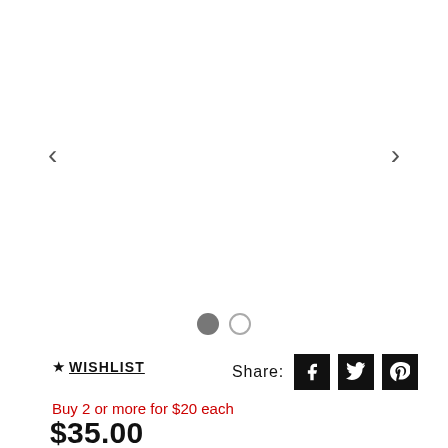[Figure (other): Product image carousel with left and right navigation arrows and two pagination dots (one filled, one empty)]
★WISHLIST
Share:
Buy 2 or more for $20 each
$35.00